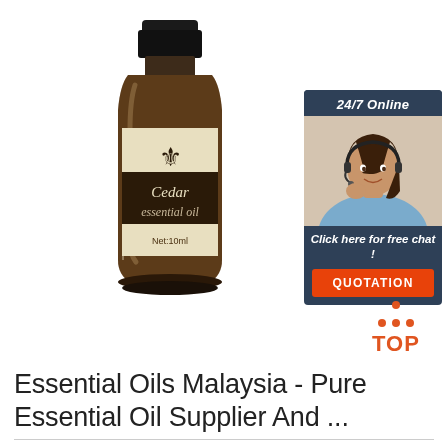[Figure (photo): Amber glass bottle of Cedar essential oil (10ml) with cream/gold label featuring a fleur-de-lis emblem, dark brown label band with white text 'Cedar essential oil', and 'Net:10ml' at bottom]
[Figure (infographic): 24/7 Online customer service chat widget with photo of woman wearing headset, 'Click here for free chat!' text, and orange QUOTATION button]
[Figure (logo): TOP logo with orange triangle/chevron shape made of dots above the word TOP in orange letters]
Essential Oils Malaysia - Pure Essential Oil Supplier And ...